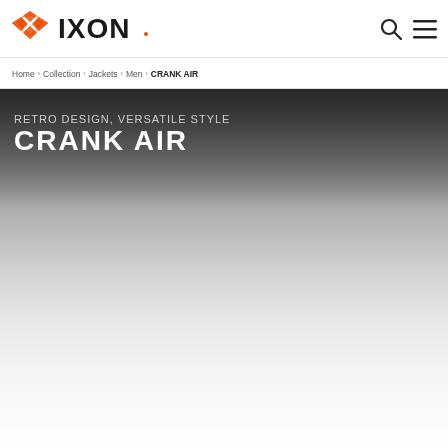[Figure (logo): IXON brand logo with orange/red winged diamond icon and IXON wordmark in black]
Home > Collection > Jackets > Men > CRANK AIR
[Figure (photo): Dark hero background image with gradient from dark grey at top to white at bottom, showing a motorcycle jacket product page hero section]
RETRO DESIGN, VERSATILE STYLE
CRANK AIR